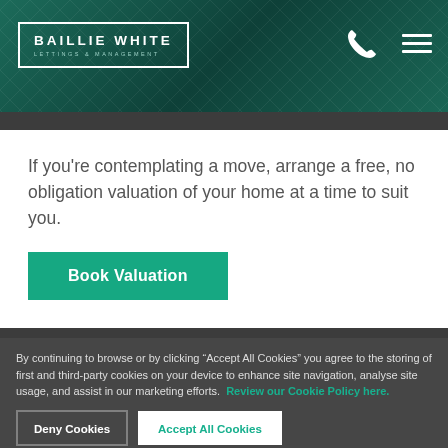[Figure (logo): Baillie White Lettings & Management logo in white text on dark teal background with border]
If you're contemplating a move, arrange a free, no obligation valuation of your home at a time to suit you.
Book Valuation
By continuing to browse or by clicking “Accept All Cookies” you agree to the storing of first and third-party cookies on your device to enhance site navigation, analyse site usage, and assist in our marketing efforts. Review our Cookie Policy here.
Deny Cookies
Accept All Cookies